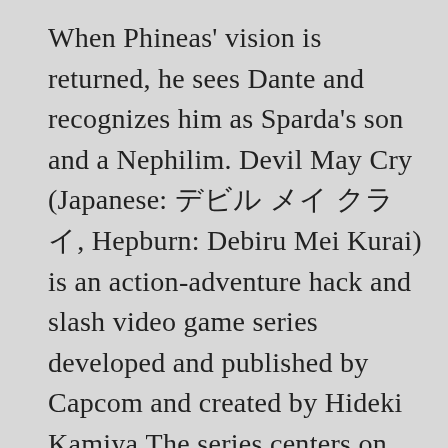When Phineas' vision is returned, he sees Dante and recognizes him as Sparda's son and a Nephilim. Devil May Cry (Japanese: デビル メイ クライ, Hepburn: Debiru Mei Kurai) is an action-adventure hack and slash video game series developed and published by Capcom and created by Hideki Kamiya.The series centers on the demon hunter Dante and his efforts to thwart various demon invasions of Earth. Underneath the coat, Dante wears a black, zipped up undershirt with three clasps closed together with ornate, golden buckles, and medium-length sleeves that can be seen passing his shoulders. DmC: Devil May Cry is an action-adventure hack and slash video